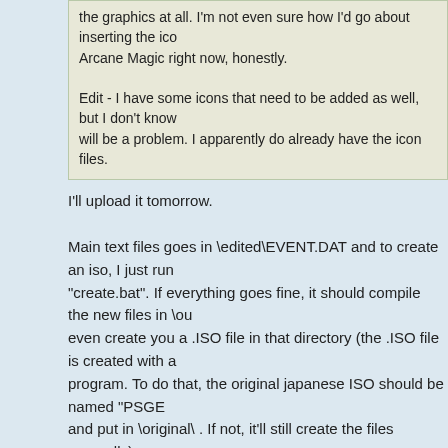the graphics at all. I'm not even sure how I'd go about inserting the icons for Arcane Magic right now, honestly.

Edit - I have some icons that need to be added as well, but I don't know if that will be a problem. I apparently do already have the icon files.
I'll upload it tomorrow.

Main text files goes in \edited\EVENT.DAT and to create an iso, I just run "create.bat". If everything goes fine, it should compile the new files in \out and even create you a .ISO file in that directory (the .ISO file is created with a program. To do that, the original japanese ISO should be named "PSGEN" and put in \original\ . If not, it'll still create the files manually).
Re: Phantasy Star Generation 2: English Translation V2
by SandyLandale » Tue Oct 02, 2018 10:10 am
That'll be great. Thanks! I have one last question about graphics. In battle there's some minor help text: the name of the character whose turn it is, and the command name.
[Figure (screenshot): Black box with text: 'The image you are requesting does not exist or is no longer available.']